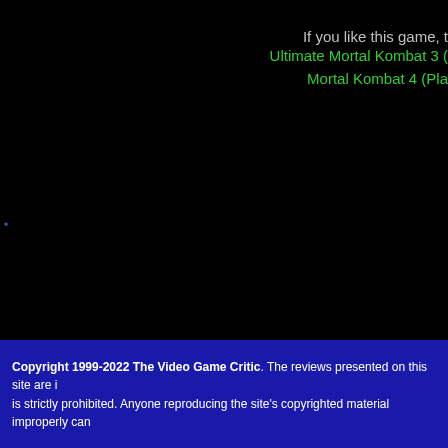If you like this game, t
Ultimate Mortal Kombat 3 (
Mortal Kombat 4 (Pla
Select new range: [Previous] [A] [B] [C
[Nintend
Screen shots courtesy of IGN.com, Lemon
Copyright 1999-2022 The Video Game Critic. The reviews presented on this site are i... is strictly prohibited. Anyone reproducing the site's copyrighted material improperly can